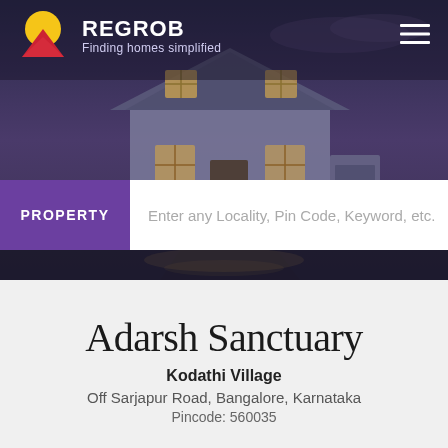[Figure (screenshot): Hero background image of a suburban house with dark purple/blue sky and wet driveway reflections]
REGROB — Finding homes simplified
PROPERTY | Enter any Locality, Pin Code, Keyword, etc.
Adarsh Sanctuary
Kodathi Village
Off Sarjapur Road, Bangalore, Karnataka
Pincode: 560035